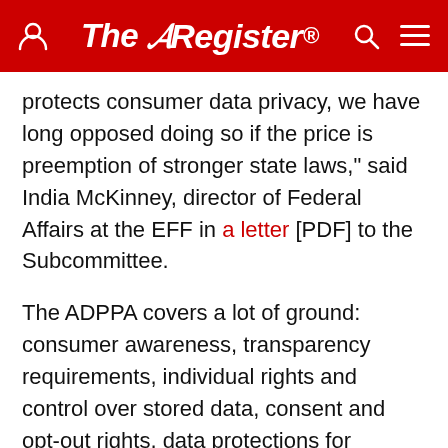The Register
protects consumer data privacy, we have long opposed doing so if the price is preemption of stronger state laws," said India McKinney, director of Federal Affairs at the EFF in a letter [PDF] to the Subcommittee.
The ADPPA covers a lot of ground: consumer awareness, transparency requirements, individual rights and control over stored data, consent and opt-out rights, data protections for children and minors, third-party data collector obligations, algorithmic transparency requirements, data security requirements, the extent of corporate responsibility, and how enforcement will be handled. And its current language doesn't suit everyone.